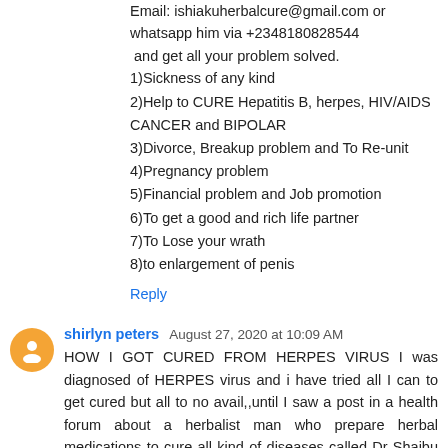Email: ishiakuherbalcure@gmail.com or whatsapp him via +2348180828544 and get all your problem solved.
1)Sickness of any kind
2)Help to CURE Hepatitis B, herpes, HIV/AIDS CANCER and BIPOLAR
3)Divorce, Breakup problem and To Re-unit
4)Pregnancy problem
5)Financial problem and Job promotion
6)To get a good and rich life partner
7)To Lose your wrath
8)to enlargement of penis
Reply
shirlyn peters August 27, 2020 at 10:09 AM
HOW I GOT CURED FROM HERPES VIRUS I was diagnosed of HERPES virus and i have tried all I can to get cured but all to no avail,,until I saw a post in a health forum about a herbalist man who prepare herbal medications to cure all kind of diseases called Dr Shaibu Abacha Herbs Medicine which i try and got my cure i am very happy to